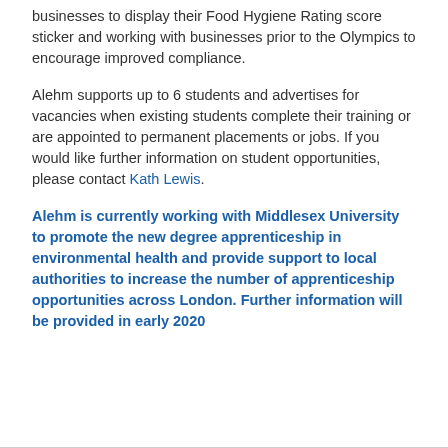businesses to display their Food Hygiene Rating score sticker and working with businesses prior to the Olympics to encourage improved compliance.
Alehm supports up to 6 students and advertises for vacancies when existing students complete their training or are appointed to permanent placements or jobs. If you would like further information on student opportunities, please contact Kath Lewis.
Alehm is currently working with Middlesex University to promote the new degree apprenticeship in environmental health and provide support to local authorities to increase the number of apprenticeship opportunities across London. Further information will be provided in early 2020